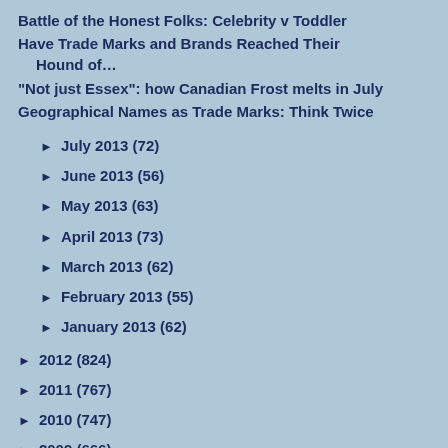Battle of the Honest Folks: Celebrity v Toddler
Have Trade Marks and Brands Reached Their Hound of…
"Not just Essex": how Canadian Frost melts in July
Geographical Names as Trade Marks: Think Twice
► July 2013 (72)
► June 2013 (56)
► May 2013 (63)
► April 2013 (73)
► March 2013 (62)
► February 2013 (55)
► January 2013 (62)
► 2012 (824)
► 2011 (767)
► 2010 (747)
► 2009 (666)